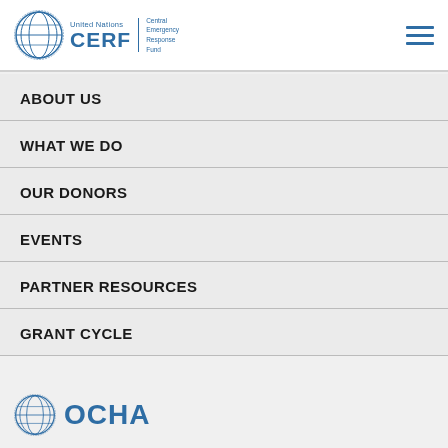United Nations CERF | Central Emergency Response Fund
ABOUT US
WHAT WE DO
OUR DONORS
EVENTS
PARTNER RESOURCES
GRANT CYCLE
[Figure (logo): OCHA logo with UN globe emblem and OCHA text in blue]